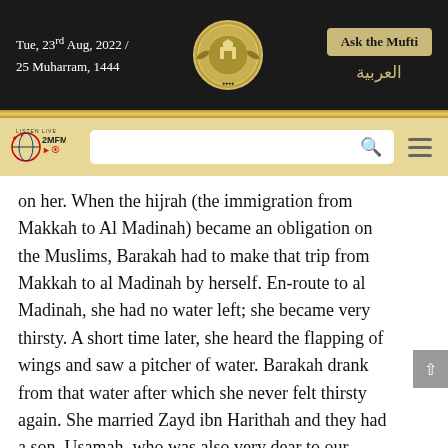Tue, 23rd Aug, 2022 / 25 Muharram, 1444 | Ask the Mufti | العربية
[Figure (logo): Circular gold emblem/seal in the center of the header]
[Figure (infographic): Navigation bar with 2MFM Listen Live logo, search box, and hamburger menu on gold/tan background]
on her. When the hijrah (the immigration from Makkah to Al Madinah) became an obligation on the Muslims, Barakah had to make that trip from Makkah to al Madinah by herself. En-route to al Madinah, she had no water left; she became very thirsty. A short time later, she heard the flapping of wings and saw a pitcher of water. Barakah drank from that water after which she never felt thirsty again. She married Zayd ibn Harithah and they had a son, Usamah, who was also very dear to our Prophet, peace be upon him.